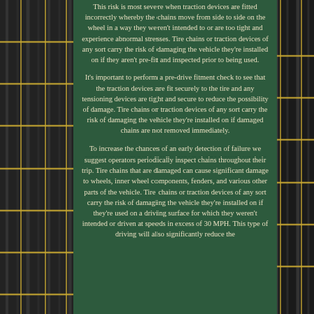[Figure (photo): Close-up photograph of a tire with snow chains/traction devices installed, shown on the left and right sides of the page behind a green text panel]
This risk is most severe when traction devices are fitted incorrectly whereby the chains move from side to side on the wheel in a way they weren't intended to or are too tight and experience abnormal stresses. Tire chains or traction devices of any sort carry the risk of damaging the vehicle they're installed on if they aren't pre-fit and inspected prior to being used.

It's important to perform a pre-drive fitment check to see that the traction devices are fit securely to the tire and any tensioning devices are tight and secure to reduce the possibility of damage. Tire chains or traction devices of any sort carry the risk of damaging the vehicle they're installed on if damaged chains are not removed immediately.

To increase the chances of an early detection of failure we suggest operators periodically inspect chains throughout their trip. Tire chains that are damaged can cause significant damage to wheels, inner wheel components, fenders, and various other parts of the vehicle. Tire chains or traction devices of any sort carry the risk of damaging the vehicle they're installed on if they're used on a driving surface for which they weren't intended or driven at speeds in excess of 30 MPH. This type of driving will also significantly reduce the